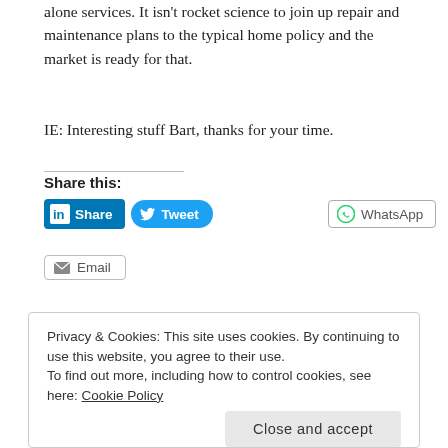alone services. It isn't rocket science to join up repair and maintenance plans to the typical home policy and the market is ready for that.
IE: Interesting stuff Bart, thanks for your time.
Share this:
[Figure (other): Social sharing buttons: LinkedIn Share, Tweet, WhatsApp, Email]
Privacy & Cookies: This site uses cookies. By continuing to use this website, you agree to their use. To find out more, including how to control cookies, see here: Cookie Policy